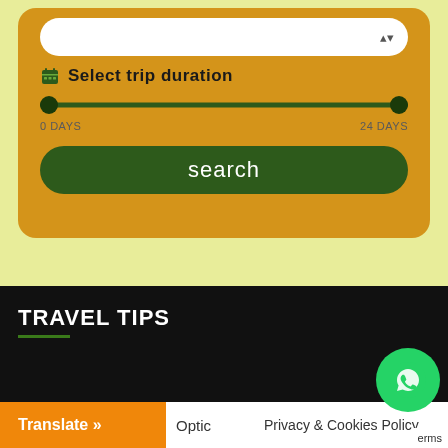[Figure (screenshot): Travel search UI widget on orange/amber background showing a dropdown selector at the top, a 'Select trip duration' slider ranging from 0 DAYS to 24 DAYS, and a dark green 'search' button]
Select trip duration
0 DAYS
24 DAYS
search
TRAVEL TIPS
Translate »
Optic
Privacy & Cookies Policy